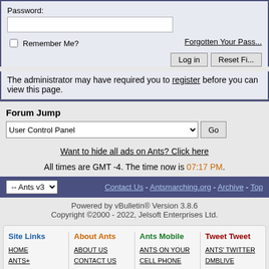Password:
Remember Me?
Forgotten Your Pass...
Log in | Reset Fi...
The administrator may have required you to register before you can view this page.
Forum Jump
User Control Panel (dropdown) Go
Want to hide all ads on Ants? Click here
All times are GMT -4. The time now is 07:17 PM.
-- Ants v3 | Contact Us - Antsmarching.org - Archive - Top
Powered by vBulletin® Version 3.8.6
Copyright ©2000 - 2022, Jelsoft Enterprises Ltd.
| Site Links | About Ants | Ants Mobile | Tweet Tweet |
| --- | --- | --- | --- |
| HOME
ANTS+
TOUR CENTRAL
SEARCH BAR
RSS FEEDS | ABOUT US
CONTACT US
THE ANTS BLOG
ADVERTISE ON ANTS | ANTS ON YOUR CELL PHONE
IANTS
MOBILE NEWS
MOBILE
RETWISTS... | ANTS' TWITTER
DMBLIVE
TWITTER
ANTS FACEBOOK
ANTS |